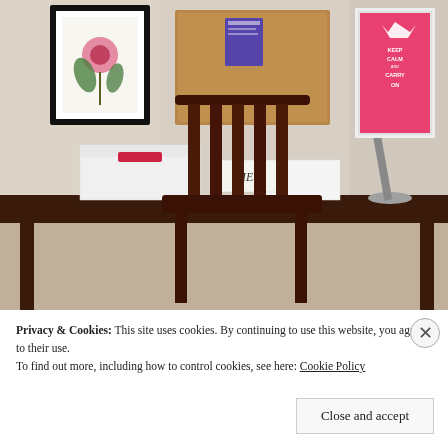[Figure (photo): A home office scene showing a dark brown wooden desk and matching chair with vertical slats in the back. On the desk are white storage boxes, a desk lamp, and some papers. On the wall behind are a framed floral art print with a black frame, a cork bulletin board with a purple note pinned to it, a 'VIEW' sign, and a 'Keep Calm and Carry On' poster in a white frame.]
Privacy & Cookies: This site uses cookies. By continuing to use this website, you agree to their use.
To find out more, including how to control cookies, see here: Cookie Policy